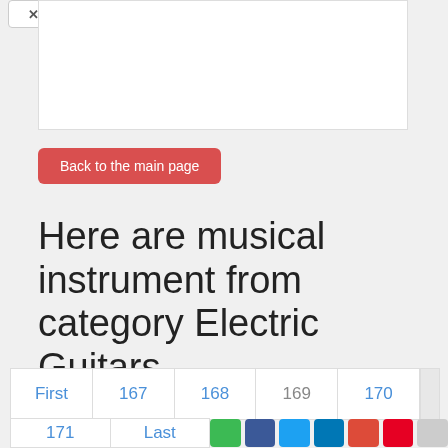[Figure (screenshot): White content box area at top of page]
Back to the main page
Here are musical instrument from category Electric Guitars
Pagination row 1: First | 167 | 168 | 169 | 170
Pagination row 2: 171 | Last
[Figure (infographic): Social sharing buttons: green share, Facebook, Twitter, LinkedIn, Google+, Pinterest, and gray button]